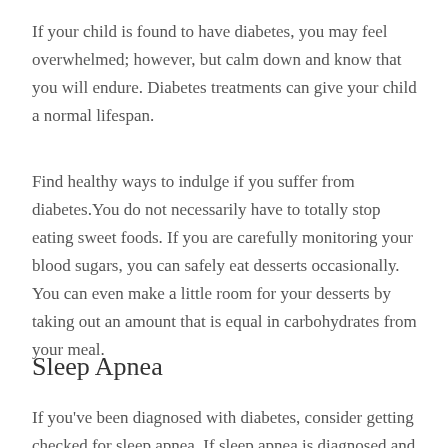If your child is found to have diabetes, you may feel overwhelmed; however, but calm down and know that you will endure. Diabetes treatments can give your child a normal lifespan.
Find healthy ways to indulge if you suffer from diabetes.You do not necessarily have to totally stop eating sweet foods. If you are carefully monitoring your blood sugars, you can safely eat desserts occasionally. You can even make a little room for your desserts by taking out an amount that is equal in carbohydrates from your meal.
Sleep Apnea
If you've been diagnosed with diabetes, consider getting checked for sleep apnea. If sleep apnea is diagnosed and treated quickly,